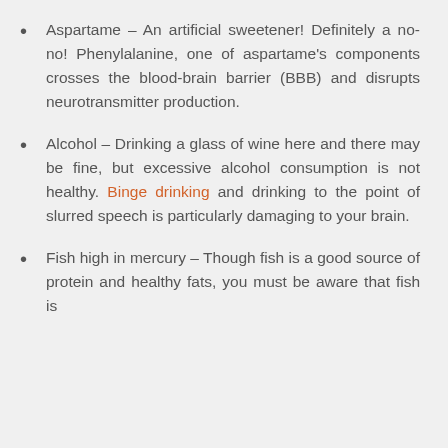Aspartame – An artificial sweetener! Definitely a no-no! Phenylalanine, one of aspartame's components crosses the blood-brain barrier (BBB) and disrupts neurotransmitter production.
Alcohol – Drinking a glass of wine here and there may be fine, but excessive alcohol consumption is not healthy. Binge drinking and drinking to the point of slurred speech is particularly damaging to your brain.
Fish high in mercury – Though fish is a good source of protein and healthy fats, you must be aware that fish is